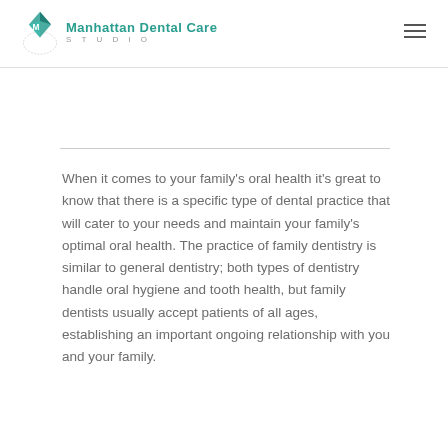Manhattan Dental Care STUDIO
When it comes to your family's oral health it's great to know that there is a specific type of dental practice that will cater to your needs and maintain your family's optimal oral health. The practice of family dentistry is similar to general dentistry; both types of dentistry handle oral hygiene and tooth health, but family dentists usually accept patients of all ages, establishing an important ongoing relationship with you and your family.